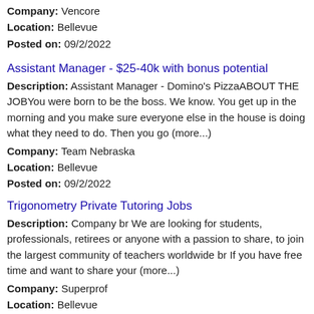Company: Vencore
Location: Bellevue
Posted on: 09/2/2022
Assistant Manager - $25-40k with bonus potential
Description: Assistant Manager - Domino's PizzaABOUT THE JOBYou were born to be the boss. We know. You get up in the morning and you make sure everyone else in the house is doing what they need to do. Then you go (more...)
Company: Team Nebraska
Location: Bellevue
Posted on: 09/2/2022
Trigonometry Private Tutoring Jobs
Description: Company br We are looking for students, professionals, retirees or anyone with a passion to share, to join the largest community of teachers worldwide br If you have free time and want to share your (more...)
Company: Superprof
Location: Bellevue
Posted on: 09/2/2022
Salary in Council Bluffs, Iowa Area | More details for Council